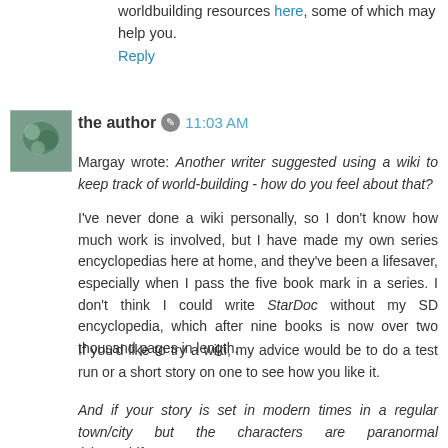worldbuilding resources here, some of which may help you.
Reply
the author  11:03 AM
Margay wrote: Another writer suggested using a wiki to keep track of world-building - how do you feel about that?
I've never done a wiki personally, so I don't know how much work is involved, but I have made my own series encyclopedias here at home, and they've been a lifesaver, especially when I pass the five book mark in a series. I don't think I could write StarDoc without my SD encyclopedia, which after nine books is now over two thousand pages in length.
If you'd like to try a wiki, my advice would be to do a test run or a short story on one to see how you like it.
And if your story is set in modern times in a regular town/city but the characters are paranormal (shapeshifters,